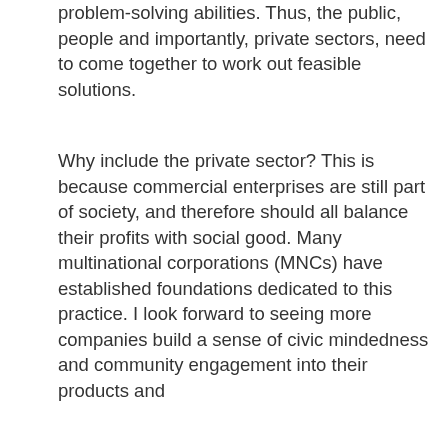problem-solving abilities. Thus, the public, people and importantly, private sectors, need to come together to work out feasible solutions.
Why include the private sector? This is because commercial enterprises are still part of society, and therefore should all balance their profits with social good. Many multinational corporations (MNCs) have established foundations dedicated to this practice. I look forward to seeing more companies build a sense of civic mindedness and community engagement into their products and...
[Figure (infographic): Advertisement overlay with orange background for 'SINGAPORE More than Meets the Eye' subscription promotion with magazine image and envelope icon]
For me personally... Parliament w... between gro... my experien... sectors, I hope to bring broad perspectives to champion issues such as mental health, social inclusion environmentalism...